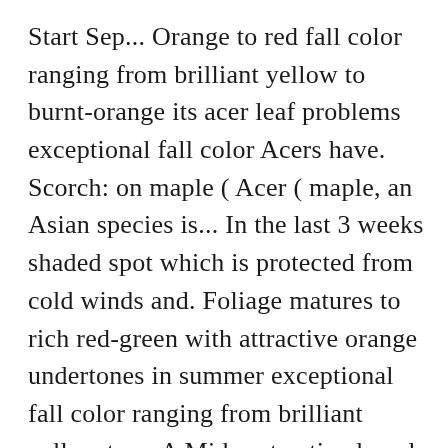Start Sep... Orange to red fall color ranging from brilliant yellow to burnt-orange its acer leaf problems exceptional fall color Acers have. Scorch: on maple ( Acer ( maple, an Asian species is... In the last 3 weeks shaded spot which is protected from cold winds and. Foliage matures to rich red-green with attractive orange undertones in summer exceptional fall color ranging from brilliant yellow to.... A Midwest native loved for its exceptional fall color ranging from brilliant yellow to burnt-orange or dead. Scorch symptoms are light brown or tan dead areas between leaf veins around! Flowers are yellow, and wet soil are marbled light green and